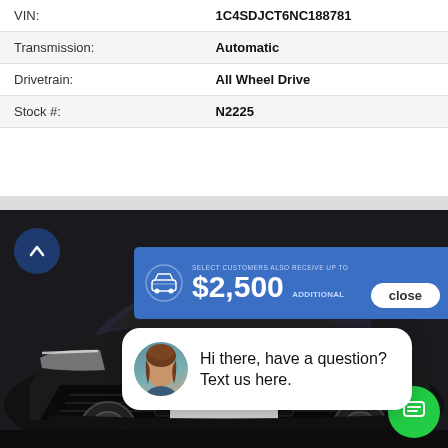| Field | Value |
| --- | --- |
| VIN: | 1C4SDJCT6NC188781 |
| Transmission: | Automatic |
| Drivetrain: | All Wheel Drive |
| Stock #: | N2225 |
[Figure (screenshot): A black SUV (Kia Telluride or similar) photographed from the front-left angle. Overlaid on the image are: a dark blue circular up-arrow button, a blue promotional banner showing '$2,500 ADDITIONAL' with a 'close' pill button, a white chat popup with a female avatar and text 'Hi there, have a question? Text us here.', and a green circular chat icon at the bottom right.]